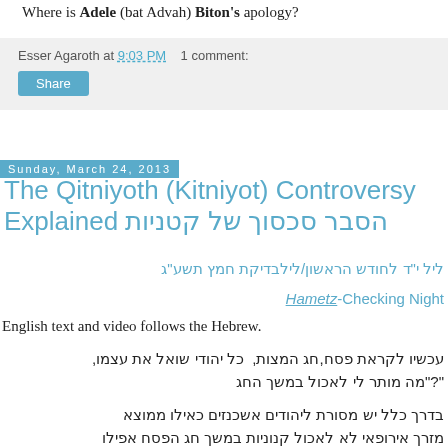Where is Adele (bat Advah) Biton's apology?
Esser Agaroth at 9:03 PM   1 comment:
Share
Sunday, March 24, 2013
The Qitniyoth (Kitniyot) Controversy Explained הסבר סכסוך של קטניות
ליל י"ד לחודש הראשון/לילבדיקת חמץ תשע"ג
Hametz-Checking Night
English text and video follows the Hebrew.
עכשיו לקראת פסח,חג המצות,  כל יהודי שואל את עצמו, "?"מה מותר לי לאכול במשך החג
בדרך כלל יש מסורת ליהודים אשכנזים כאילו ממוצא מזרח אירופאי לא לאכול קנוניות במשך חג הפסח  אפילו